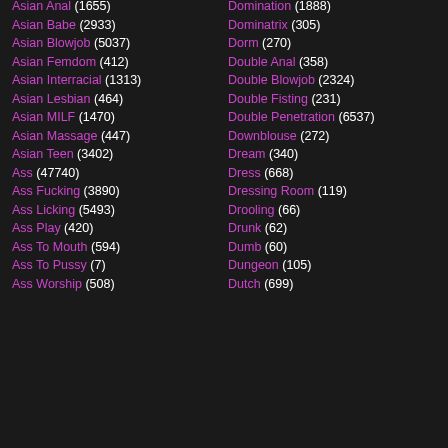Asian Anal (1655)
Asian Babe (2933)
Asian Blowjob (5037)
Asian Femdom (412)
Asian Interracial (1313)
Asian Lesbian (464)
Asian MILF (1470)
Asian Massage (447)
Asian Teen (3402)
Ass (47740)
Ass Fucking (3890)
Ass Licking (5493)
Ass Play (420)
Ass To Mouth (594)
Ass To Pussy (7)
Ass Worship (508)
Domination (1888)
Dominatrix (305)
Dorm (270)
Double Anal (358)
Double Blowjob (2324)
Double Fisting (231)
Double Penetration (6537)
Downblouse (272)
Dream (340)
Dress (668)
Dressing Room (119)
Drooling (66)
Drunk (62)
Dumb (60)
Dungeon (105)
Dutch (699)